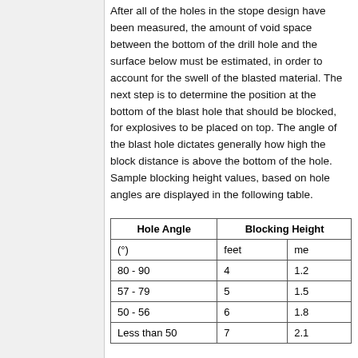After all of the holes in the stope design have been measured, the amount of void space between the bottom of the drill hole and the surface below must be estimated, in order to account for the swell of the blasted material. The next step is to determine the position at the bottom of the blast hole that should be blocked, for explosives to be placed on top. The angle of the blast hole dictates generally how high the block distance is above the bottom of the hole. Sample blocking height values, based on hole angles are displayed in the following table.
| Hole Angle | Blocking Height |  |
| --- | --- | --- |
| (°) | feet | me |
| 80 - 90 | 4 | 1.2 |
| 57 - 79 | 5 | 1.5 |
| 50 - 56 | 6 | 1.8 |
| Less than 50 | 7 | 2.1 |